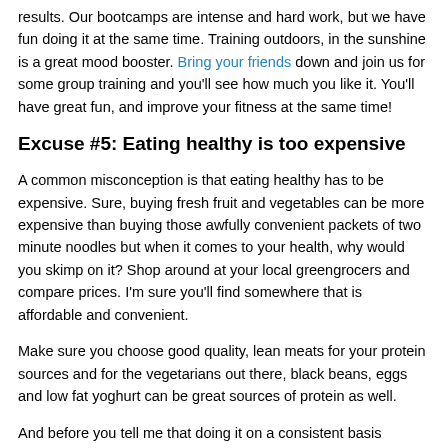results. Our bootcamps are intense and hard work, but we have fun doing it at the same time. Training outdoors, in the sunshine is a great mood booster. Bring your friends down and join us for some group training and you'll see how much you like it. You'll have great fun, and improve your fitness at the same time!
Excuse #5: Eating healthy is too expensive
A common misconception is that eating healthy has to be expensive. Sure, buying fresh fruit and vegetables can be more expensive than buying those awfully convenient packets of two minute noodles but when it comes to your health, why would you skimp on it? Shop around at your local greengrocers and compare prices. I'm sure you'll find somewhere that is affordable and convenient.
Make sure you choose good quality, lean meats for your protein sources and for the vegetarians out there, black beans, eggs and low fat yoghurt can be great sources of protein as well.
And before you tell me that doing it on a consistent basis...